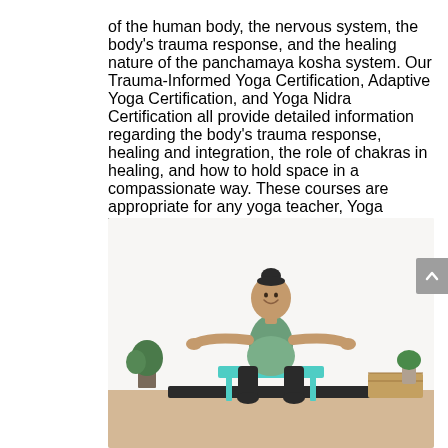of the human body, the nervous system, the body's trauma response, and the healing nature of the panchamaya kosha system. Our Trauma-Informed Yoga Certification, Adaptive Yoga Certification, and Yoga Nidra Certification all provide detailed information regarding the body's trauma response, healing and integration, the role of chakras in healing, and how to hold space in a compassionate way. These courses are appropriate for any yoga teacher, Yoga Therapists, or body worker.
[Figure (photo): A pregnant woman in a teal/sage yoga top and black leggings sits on a turquoise chair on a black yoga mat, arms outstretched in a meditative pose, smiling, in a bright white room with plants and wooden crates in the background.]